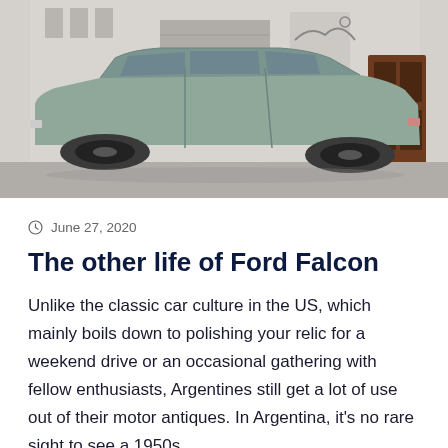[Figure (photo): Side profile photo of a vintage Ford Falcon sedan (silver/grey color) parked on a street in front of a weathered white building with graffiti and a brown wooden door. The car has black wheels.]
June 27, 2020
The other life of Ford Falcon
Unlike the classic car culture in the US, which mainly boils down to polishing your relic for a weekend drive or an occasional gathering with fellow enthusiasts, Argentines still get a lot of use out of their motor antiques. In Argentina, it's no rare sight to see a 1950s